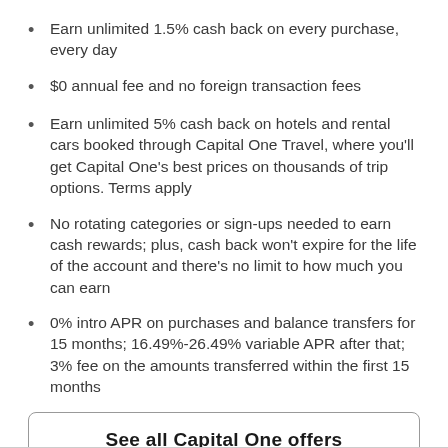Earn unlimited 1.5% cash back on every purchase, every day
$0 annual fee and no foreign transaction fees
Earn unlimited 5% cash back on hotels and rental cars booked through Capital One Travel, where you’ll get Capital One’s best prices on thousands of trip options. Terms apply
No rotating categories or sign-ups needed to earn cash rewards; plus, cash back won’t expire for the life of the account and there’s no limit to how much you can earn
0% intro APR on purchases and balance transfers for 15 months; 16.49%-26.49% variable APR after that; 3% fee on the amounts transferred within the first 15 months
See all Capital One offers